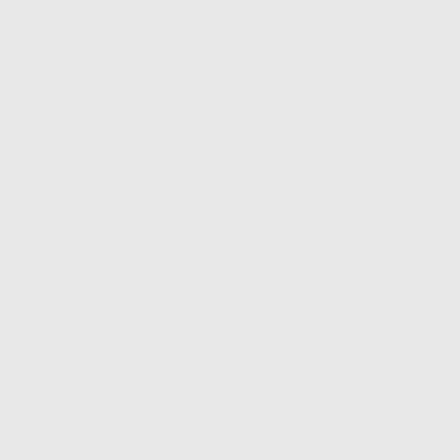&utm_campaign=SCwiki """http://shoutcast.com/broadcastnow"""]
== Free TuneIn API Access ==
== TuneIn API Access ==
All SHOUTcast Streaming Service stations can use TuneIn's Air API, which helps grow your audience. TuneIn displays the currently playing song/artist in real
All Shoutcast For Business (SC4B / Streaming Service v2) stations can use TuneIn's Air API, which helps grow your audience. TuneIn displays